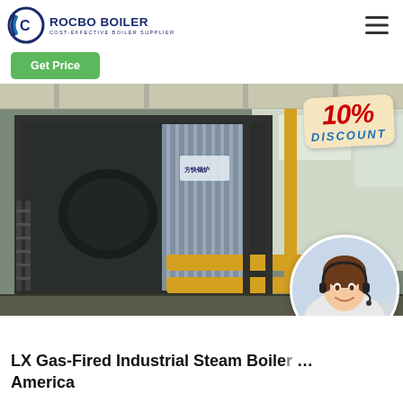[Figure (logo): Rocbo Boiler logo with circular arc icon and text 'ROCBO BOILER / COST-EFFECTIVE BOILER SUPPLIER']
[Figure (other): Hamburger menu icon (three horizontal lines) in top right corner]
[Figure (other): Green 'Get Price' button]
[Figure (photo): Industrial gas-fired steam boiler in a factory setting, with a '10% DISCOUNT' badge overlay and a circular inset photo of a smiling female customer support agent wearing a headset]
LX Gas-Fired Industrial Steam Boiler … America